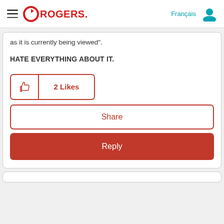Rogers — Français [user icon]
as it is currently being viewed".
HATE EVERYTHING ABOUT IT.
2 Likes
Share
Reply